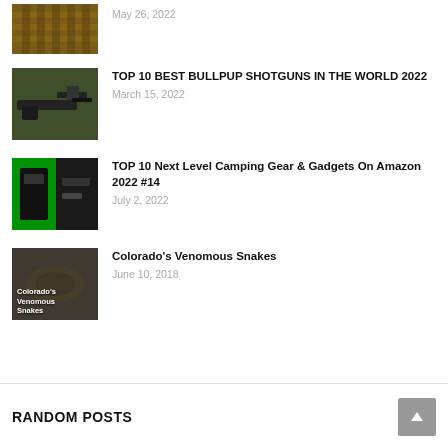[Figure (photo): Thumbnail image of ammunition/bullets, partially visible at top]
May 26, 2022
[Figure (photo): Thumbnail of a bullpup shotgun with scope]
TOP 10 BEST BULLPUP SHOTGUNS IN THE WORLD 2022
March 15, 2022
[Figure (photo): Thumbnail of a black case and camping gear on green background]
TOP 10 Next Level Camping Gear & Gadgets On Amazon 2022 #14
July 2, 2022
[Figure (photo): Thumbnail of Colorado's Venomous Snakes with text overlay]
Colorado's Venomous Snakes
June 10, 2018
RANDOM POSTS